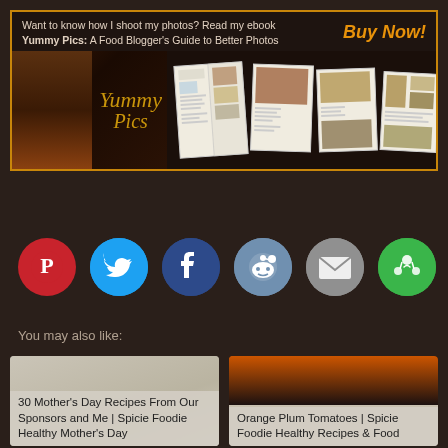[Figure (illustration): Advertisement banner for 'Yummy Pics: A Food Blogger's Guide to Better Photos' ebook with Buy Now button and book cover images]
[Figure (infographic): Row of 6 social sharing icons: Pinterest (red), Twitter (blue), Facebook (dark blue), Reddit (slate blue), Email (gray), Share/Instapaper (green)]
You may also like:
[Figure (photo): Card thumbnail for '30 Mother's Day Recipes From Our Sponsors and Me | Spicie Foodie Healthy Mother's Day']
[Figure (photo): Card thumbnail for 'Orange Plum Tomatoes | Spicie Foodie Healthy Recipes & Food']